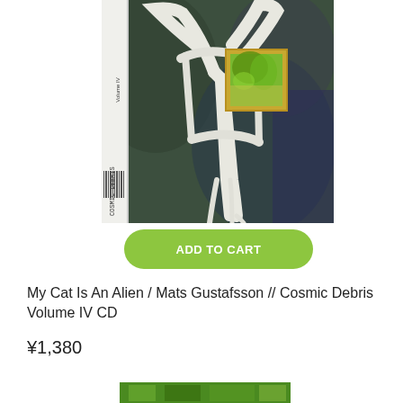[Figure (photo): Album cover for Cosmic Debris Volume IV — a CD with white sculptural/cloth-like object against a dark green textured background with a small photo inset showing green foliage. The spine reads 'COSMIC DEBRIS' and 'Volume IV' vertically.]
ADD TO CART
My Cat Is An Alien / Mats Gustafsson // Cosmic Debris Volume IV CD
¥1,380
[Figure (photo): Partial view of another album cover at the bottom of the page, showing a green/colorful image, cropped.]